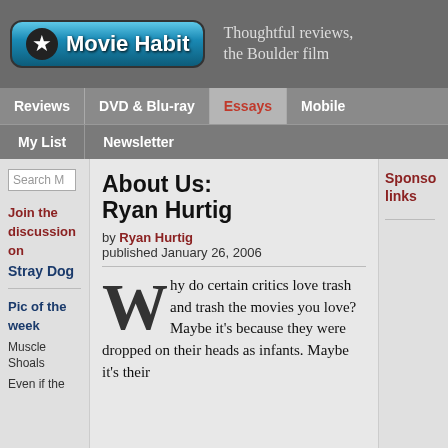Movie Habit — Thoughtful reviews, the Boulder film
Reviews | DVD & Blu-ray | Essays | Mobile | My List | Newsletter
About Us: Ryan Hurtig
by Ryan Hurtig
published January 26, 2006
Why do certain critics love trash and trash the movies you love? Maybe it's because they were dropped on their heads as infants. Maybe it's their
Join the discussion on
Stray Dog
Pic of the week
Muscle Shoals
Even if the
Sponsored links